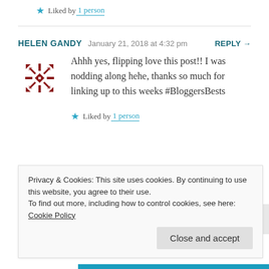★ Liked by 1 person
HELEN GANDY   January 21, 2018 at 4:32 pm   REPLY →
Ahhh yes, flipping love this post!! I was nodding along hehe, thanks so much for linking up to this weeks #BloggersBests
★ Liked by 1 person
Privacy & Cookies: This site uses cookies. By continuing to use this website, you agree to their use. To find out more, including how to control cookies, see here: Cookie Policy
Close and accept